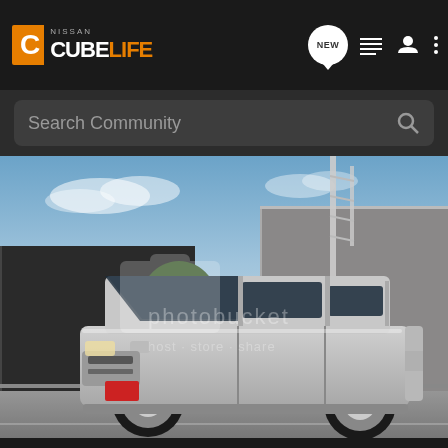[Figure (screenshot): Nissan CubeLife website screenshot showing navigation bar with logo, search bar, and a photo of a silver Nissan Cube car in a parking area with industrial buildings in the background. The photo has a Photobucket watermark overlay.]